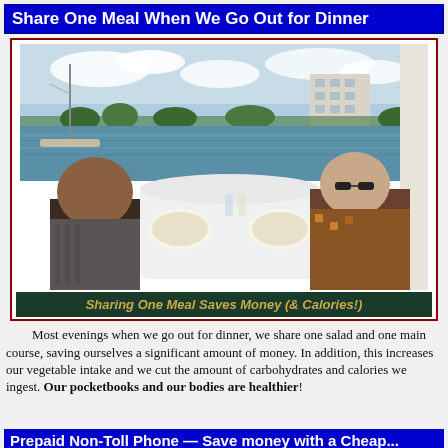Share One Meal When We Go Out for Dinner
[Figure (photo): A couple sharing a meal at an outdoor waterfront restaurant table with white tablecloth; water, boats, and a building visible in the background.]
Sharing One Meal Saves Money (& Calories!)
Most evenings when we go out for dinner, we share one salad and one main course, saving ourselves a significant amount of money. In addition, this increases our vegetable intake and we cut the amount of carbohydrates and calories we ingest. Our pocketbooks and our bodies are healthier!
Prepaid Non-Toll Phone — Save money with a Cheap...